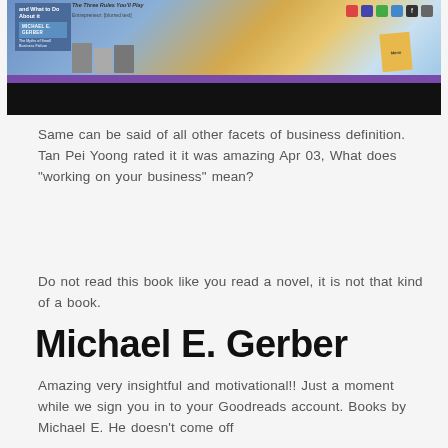[Figure (screenshot): Website banner with book covers and social media icons for Michael E. Gerber, with a purple bar and dark bottom section]
Same can be said of all other facets of business definition. Tan Pei Yoong rated it it was amazing Apr 03, What does “working on your business” mean?
Do not read this book like you read a novel, it is not that kind of a book.
Michael E. Gerber
Amazing very insightful and motivational!! Just a moment while we sign you in to your Goodreads account. Books by Michael E. He doesn’t come off